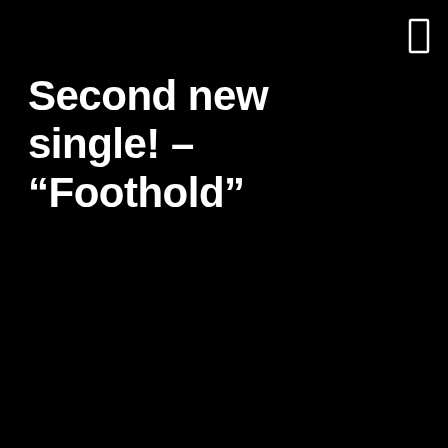[Figure (other): Small white rectangle/icon in the top-right corner of the black background]
Second new single! – “Foothold”